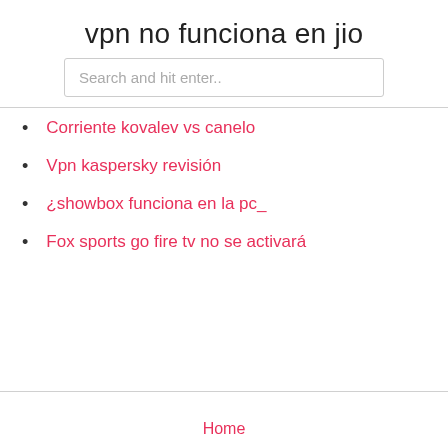vpn no funciona en jio
Search and hit enter..
Corriente kovalev vs canelo
Vpn kaspersky revisión
¿showbox funciona en la pc_
Fox sports go fire tv no se activará
Home